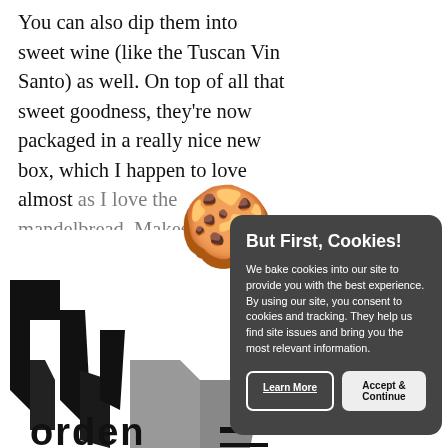You can also dip them into sweet wine (like the Tuscan Vin Santo) as well. On top of all that sweet goodness, they're now packaged in a really nice new box, which I happen to love almost as much as I love the mandelbread. Makes them int
This post
2011.
[Figure (illustration): Cookie emoji (🍪) overlaid on the article text area]
[Figure (illustration): Black and white decorative illustration / text art in bottom left showing stylized shapes and text 'order']
But First, Cookies! We bake cookies into our site to provide you with the best experience. By using our site, you consent to cookies and tracking. They help us find site issues and bring you the most relevant information.
Learn More
Accept & Continue